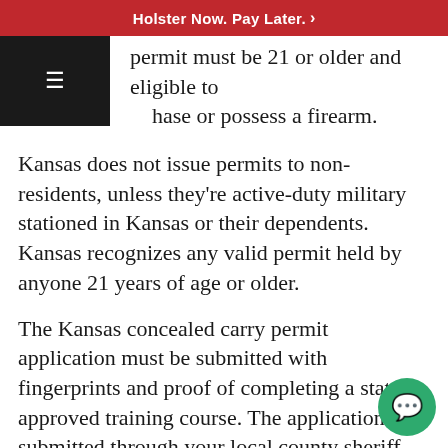Holster Now. Pay Later. >
permit must be 21 or older and eligible to purchase or possess a firearm.
Kansas does not issue permits to non-residents, unless they're active-duty military stationed in Kansas or their dependents. Kansas recognizes any valid permit held by anyone 21 years of age or older.
The Kansas concealed carry permit application must be submitted with fingerprints and proof of completing a state-approved training course. The application is submitted through your local county sheriff and once issued, is good for four years. applicant must be a legal resident of the